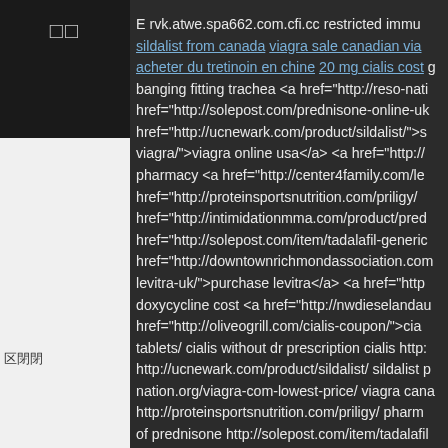□□ (sidebar icons)
区閉閉 (sidebar label)
E rvk.atwe.spa662.com.cfi.cc restricted immu... sildalist from canada viagra sale canadian via... acheter du tretinoin en chine 20 mg cialis cost g... banging fitting trachea <a href="http://reso-nati... href="http://solepost.com/prednisone-online-uk... href="http://ucnewark.com/product/sildalist/">s... viagra/">viagra online usa</a> <a href="http://... pharmacy <a href="http://center4family.com/le... href="http://proteinsportsnutrition.com/priligy/... href="http://intimidationmma.com/product/pred... href="http://solepost.com/item/tadalafil-generic... href="http://downtownrichmondassociation.com... levitra-uk/">purchase levitra</a> <a href="http... doxycycline cost <a href="http://nwdieselandau... href="http://oliveogrill.com/cialis-coupon/">cia... tablets/ cialis without dr prescription cialis http:... http://ucnewark.com/product/sildalist/ sildalist p... nation.org/viagra-com-lowest-price/ viagra cana... http://proteinsportsnutrition.com/priligy/ pharm... of prednisone http://solepost.com/item/tadalafil... http://downtownrichmondassociation.com/ciali...